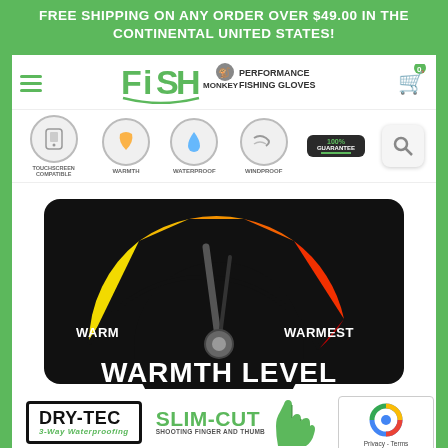FREE SHIPPING ON ANY ORDER OVER $49.00 IN THE CONTINENTAL UNITED STATES!
[Figure (logo): Fish Monkey Performance Fishing Gloves logo with monkey icon]
[Figure (infographic): Feature badges: Touchscreen Compatible, Warmth, Waterproof, Windproof, 100% Guarantee, Search]
[Figure (infographic): Warmth Level gauge meter showing needle pointing toward WARMEST, with spectrum from yellow (WARM) to red (WARMEST) on black background]
[Figure (logo): DRY-TEC 3-Way Waterproofing badge logo]
[Figure (logo): SLIM-CUT Shooting Finger and Thumb logo with green hand icon]